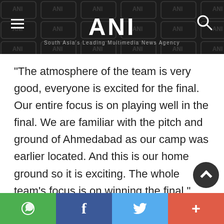ANI — South Asia's Leading Multimedia News Agency
"The atmosphere of the team is very good, everyone is excited for the final. Our entire focus is on playing well in the final. We are familiar with the pitch and ground of Ahmedabad as our camp was earlier located. And this is our home ground so it is exciting. The whole team's focus is on winning the final," said Yash Dayal while speaking exclusively to ANI.
Share buttons: WhatsApp, Facebook, Twitter, More